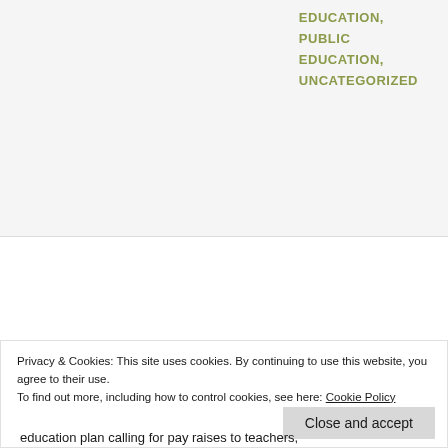EDUCATION,
PUBLIC EDUCATION,
UNCATEGORIZED
COMMENTS
LEAVE A COMMENT
WISHING DOESN'T MAKE
Privacy & Cookies: This site uses cookies. By continuing to use this website, you agree to their use.
To find out more, including how to control cookies, see here: Cookie Policy
Close and accept
education plan calling for pay raises to teachers,